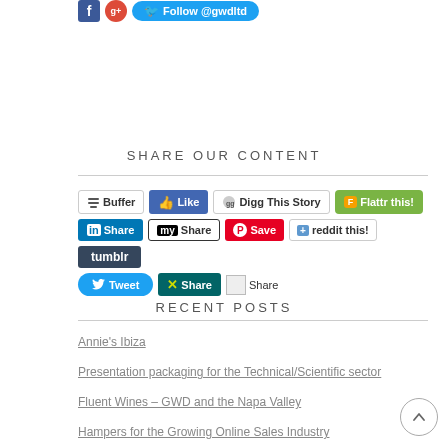[Figure (other): Social media icons: Facebook, Google+, and Twitter Follow @gwdltd button]
SHARE OUR CONTENT
[Figure (infographic): Row of social share buttons: Buffer, Like, Digg This Story, Flattr this!, Share (LinkedIn), Share (MySpace), Save (Pinterest), reddit this!, tumblr, Tweet, Share (XING), Share (image button)]
RECENT POSTS
Annie's Ibiza
Presentation packaging for the Technical/Scientific sector
Fluent Wines – GWD and the Napa Valley
Hampers for the Growing Online Sales Industry
Christmas, Covid19 and What to Expect….